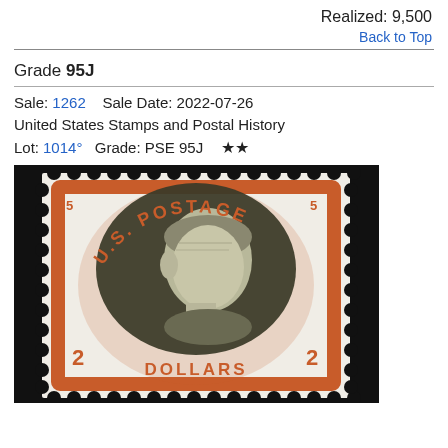Realized: 9,500
Back to Top
Grade 95J
Sale: 1262    Sale Date: 2022-07-26
United States Stamps and Postal History
Lot: 1014°   Grade: PSE 95J   ★★
[Figure (photo): A US $2 Franklin stamp with orange-red border featuring Benjamin Franklin portrait in dark olive-green, perforated edges, labeled '2 DOLLARS' and 'U.S. POSTAGE', shown against a black background]